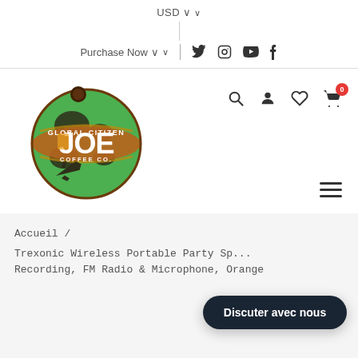USD ∨
Purchase Now ∨
[Figure (logo): Global Citizen Joe Coffee Co. logo — circular globe with green continents, brown/orange banner belt with white 'JOE' text, small airplane silhouette, coffee pod at top]
Accueil /
Trexonic Wireless Portable Party Sp... Recording, FM Radio & Microphone, Orange
Discuter avec nous